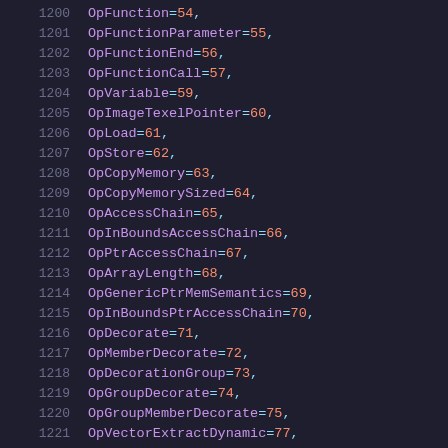1200    OpFunction = 54,
1201    OpFunctionParameter = 55,
1202    OpFunctionEnd = 56,
1203    OpFunctionCall = 57,
1204    OpVariable = 59,
1205    OpImageTexelPointer = 60,
1206    OpLoad = 61,
1207    OpStore = 62,
1208    OpCopyMemory = 63,
1209    OpCopyMemorySized = 64,
1210    OpAccessChain = 65,
1211    OpInBoundsAccessChain = 66,
1212    OpPtrAccessChain = 67,
1213    OpArrayLength = 68,
1214    OpGenericPtrMemSemantics = 69,
1215    OpInBoundsPtrAccessChain = 70,
1216    OpDecorate = 71,
1217    OpMemberDecorate = 72,
1218    OpDecorationGroup = 73,
1219    OpGroupDecorate = 74,
1220    OpGroupMemberDecorate = 75,
1221    OpVectorExtractDynamic = 77,